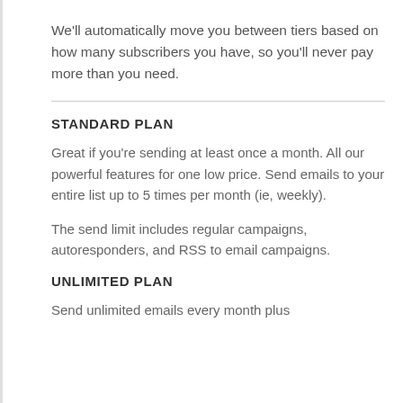We'll automatically move you between tiers based on how many subscribers you have, so you'll never pay more than you need.
STANDARD PLAN
Great if you're sending at least once a month. All our powerful features for one low price. Send emails to your entire list up to 5 times per month (ie, weekly).
The send limit includes regular campaigns, autoresponders, and RSS to email campaigns.
UNLIMITED PLAN
Send unlimited emails every month plus